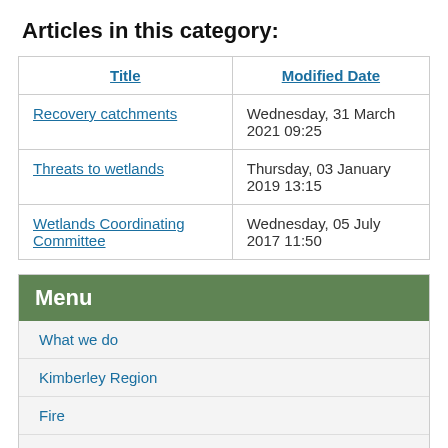Articles in this category:
| Title | Modified Date |
| --- | --- |
| Recovery catchments | Wednesday, 31 March 2021 09:25 |
| Threats to wetlands | Thursday, 03 January 2019 13:15 |
| Wetlands Coordinating Committee | Wednesday, 05 July 2017 11:50 |
Menu
What we do
Kimberley Region
Fire
Forests